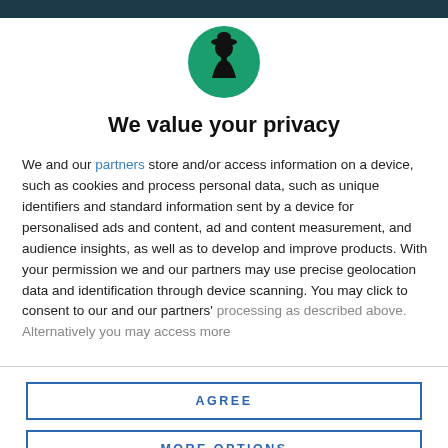[Figure (logo): Circular green logo with a black silhouette of a person wearing a hat, resembling a scout or watchman figure]
We value your privacy
We and our partners store and/or access information on a device, such as cookies and process personal data, such as unique identifiers and standard information sent by a device for personalised ads and content, ad and content measurement, and audience insights, as well as to develop and improve products. With your permission we and our partners may use precise geolocation data and identification through device scanning. You may click to consent to our and our partners' processing as described above. Alternatively you may access more
AGREE
MORE OPTIONS